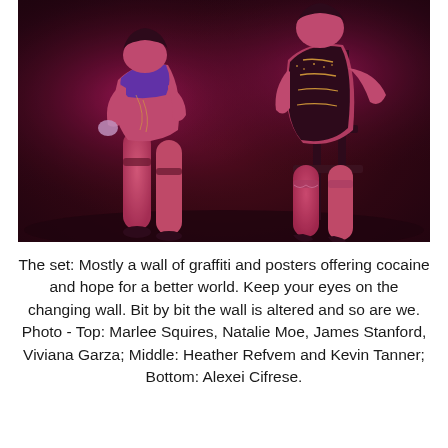[Figure (photo): Two performers on stage under pink/red lighting. Left figure wears a purple top and black bottoms with rhinestone accessories. Right figure wears a black corset with gold accents, seated on a chair. Both have decorated stockings. Dark background.]
The set: Mostly a wall of graffiti and posters offering cocaine and hope for a better world. Keep your eyes on the changing wall. Bit by bit the wall is altered and so are we. Photo - Top: Marlee Squires, Natalie Moe, James Stanford, Viviana Garza; Middle: Heather Refvem and Kevin Tanner; Bottom: Alexei Cifrese.